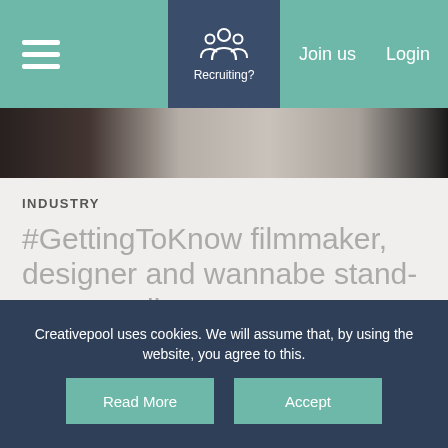Recruiting? | Join us | Login
[Figure (photo): Photo strip showing blurred portrait images in dark tones]
INDUSTRY
#GettingToKnow filmmaker, designer and wannabe stand-up comedian George Wu
This week, we'll be getting to know George Wu - a London-based director and creative currently working as Design Director at Mother Design in London. Originally from Manchester and a graduate from Royal College of Art, her work
Creativepool uses cookies. We will assume that, by using the website, you agree to this.